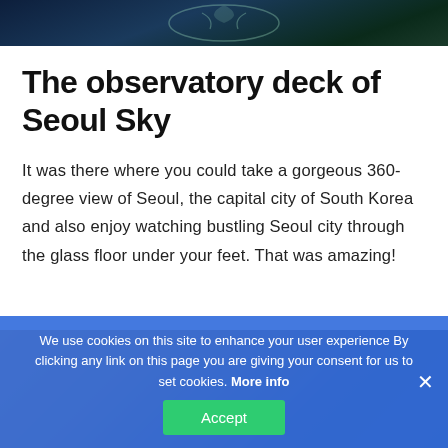[Figure (photo): Dark blue/green nighttime aerial or decorative image, partially visible at top of page]
The observatory deck of Seoul Sky
It was there where you could take a gorgeous 360-degree view of Seoul, the capital city of South Korea and also enjoy watching bustling Seoul city through the glass floor under your feet. That was amazing!
[Figure (photo): Warm-toned indoor photo, partially visible behind cookie consent banner]
We use cookies on this site to enhance your user experience By clicking any link on this page you are giving your consent for us to set cookies. More info
Accept